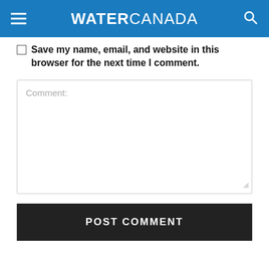WATER CANADA
Save my name, email, and website in this browser for the next time I comment.
[Figure (screenshot): Comment text area input box with placeholder text 'Comment:']
POST COMMENT